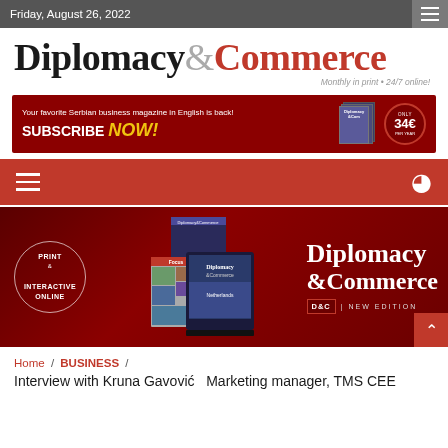Friday, August 26, 2022
Diplomacy&Commerce — Monthly in print • 24/7 online!
[Figure (infographic): Dark red subscription banner: 'Your favorite Serbian business magazine in English is back! SUBSCRIBE NOW! Only 34€ per year']
[Figure (infographic): Red navigation bar with hamburger menu icon on left and search icon on right]
[Figure (infographic): Red hero banner showing Diplomacy & Commerce magazine covers with 'PRINT & INTERACTIVE ONLINE' circle, stacked magazine images, and 'Diplomacy & Commerce D&C | NEW EDITION' text on right with scroll-to-top button]
Home / BUSINESS /
Interview with Kruna Gavović  Marketing manager, TMS CEE